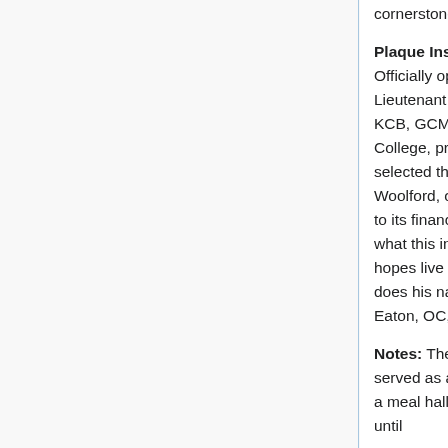cornerstone.
Plaque Inscription: Sir Howard Douglas Hall Officially opened on January 1, 1829, by Lieutenant Governor Sir Howard Douglas, CB, KCB, GCMG, and GCB, DCL (OXON). As King's College, predecessor to UNB, Sir Howard Douglas selected this site, worked with architect J.E. Woolford, obtained a Royal Charter for King's, saw to its financing and set forth a magnificent vision of what this institution could in time become. His hopes live on in this university and now so, too, does his name. Unveiled by Chancellor Fredrik S. Eaton, OC, B.A., LL.D., 23 October 1999.
Notes: The main building of King's College, it served as a residence to students and professors, a meal hall, and housed all of the classes taught until